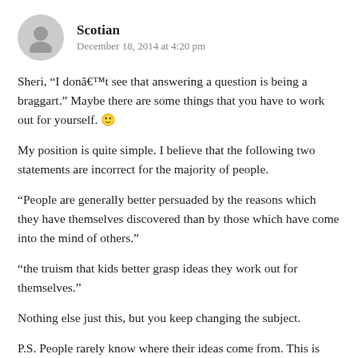Scotian
December 18, 2014 at 4:20 pm
Sheri, “I donâ€™t see that answering a question is being a braggart.” Maybe there are some things that you have to work out for yourself. 🙂
My position is quite simple. I believe that the following two statements are incorrect for the majority of people.
“People are generally better persuaded by the reasons which they have themselves discovered than by those which have come into the mind of others.”
“the truism that kids better grasp ideas they work out for themselves.”
Nothing else just this, but you keep changing the subject.
P.S. People rarely know where their ideas come from. This is why art is so dangerous as Pascal says in #11. In fact